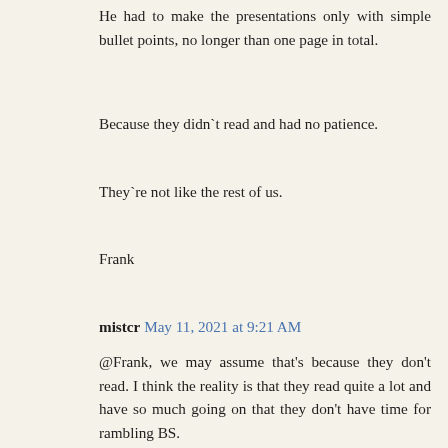He had to make the presentations only with simple bullet points, no longer than one page in total.
Because they didn`t read and had no patience.
They`re not like the rest of us.
Frank
mistcr  May 11, 2021 at 9:21 AM
@Frank, we may assume that's because they don't read. I think the reality is that they read quite a lot and have so much going on that they don't have time for rambling BS.
mistcr  May 11, 2021 at 10:23 AM
@Anono, I'm with you. I came to prepper world late, now I'm furiously playing catchup. My biggest concern is no power: there's a reason Zhou opened the power grid to China. I'm sure that's the payment they